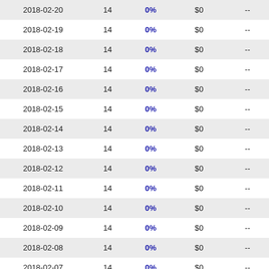| 2018-02-20 | 14 | 0% | $0 | -- |
| 2018-02-19 | 14 | 0% | $0 | -- |
| 2018-02-18 | 14 | 0% | $0 | -- |
| 2018-02-17 | 14 | 0% | $0 | -- |
| 2018-02-16 | 14 | 0% | $0 | -- |
| 2018-02-15 | 14 | 0% | $0 | -- |
| 2018-02-14 | 14 | 0% | $0 | -- |
| 2018-02-13 | 14 | 0% | $0 | -- |
| 2018-02-12 | 14 | 0% | $0 | -- |
| 2018-02-11 | 14 | 0% | $0 | -- |
| 2018-02-10 | 14 | 0% | $0 | -- |
| 2018-02-09 | 14 | 0% | $0 | -- |
| 2018-02-08 | 14 | 0% | $0 | -- |
| 2018-02-07 | 14 | 0% | $0 | -- |
| 2018-02-06 | 14 | 0% | $0 | -- |
| 2018-02-05 | 14 | 0% | $0 | -- |